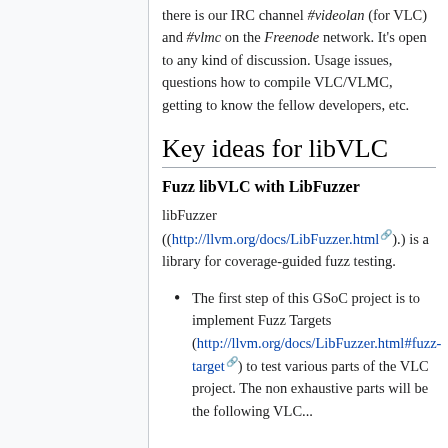there is our IRC channel #videolan (for VLC) and #vlmc on the Freenode network. It's open to any kind of discussion. Usage issues, questions how to compile VLC/VLMC, getting to know the fellow developers, etc.
Key ideas for libVLC
Fuzz libVLC with LibFuzzer
libFuzzer ((http://llvm.org/docs/LibFuzzer.html).) is a library for coverage-guided fuzz testing.
The first step of this GSoC project is to implement Fuzz Targets (http://llvm.org/docs/LibFuzzer.html#fuzz-target) to test various parts of the VLC project. The non exhaustive parts will be the following VLC...